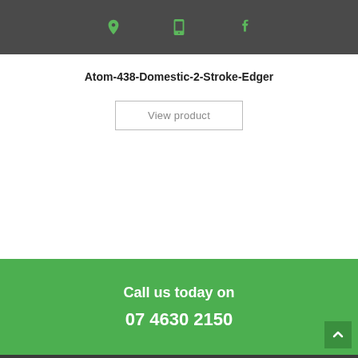[location icon] [phone icon] [facebook icon]
Atom-438-Domestic-2-Stroke-Edger
View product
Call us today on
07 4630 2150
SELECT OPTIONS